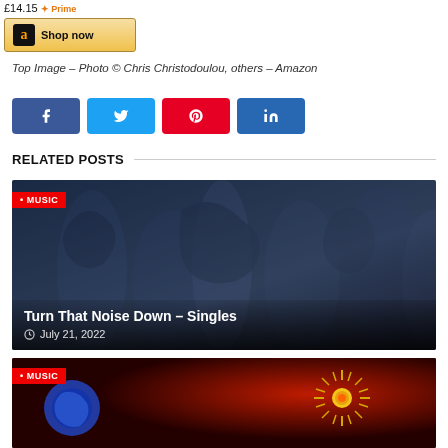[Figure (screenshot): Amazon Prime shop now button with price £14.15]
Top Image - Photo © Chris Christodoulou, others - Amazon
[Figure (infographic): Social sharing buttons: Facebook, Twitter, Pinterest, LinkedIn]
RELATED POSTS
[Figure (photo): Band photo in blue tones - related post card]
Turn That Noise Down - Singles
July 21, 2022
[Figure (photo): Abstract star/sun illustration with blue swirl - related post card]
MUSIC